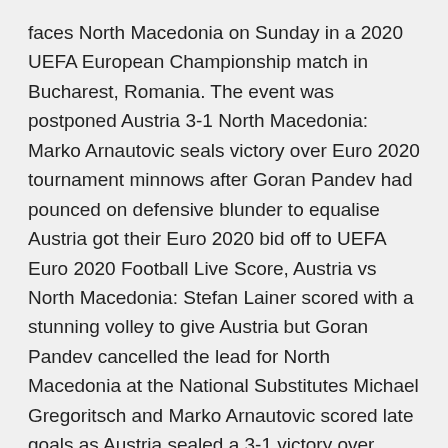faces North Macedonia on Sunday in a 2020 UEFA European Championship match in Bucharest, Romania. The event was postponed Austria 3-1 North Macedonia: Marko Arnautovic seals victory over Euro 2020 tournament minnows after Goran Pandev had pounced on defensive blunder to equalise Austria got their Euro 2020 bid off to UEFA Euro 2020 Football Live Score, Austria vs North Macedonia: Stefan Lainer scored with a stunning volley to give Austria but Goran Pandev cancelled the lead for North Macedonia at the National Substitutes Michael Gregoritsch and Marko Arnautovic scored late goals as Austria sealed a 3-1 victory over major tournament debutants North Macedonia in their Group C opener at Euro 2020 on Sunday. FT Full Time AET After Extra Time LIVE This is a live match.